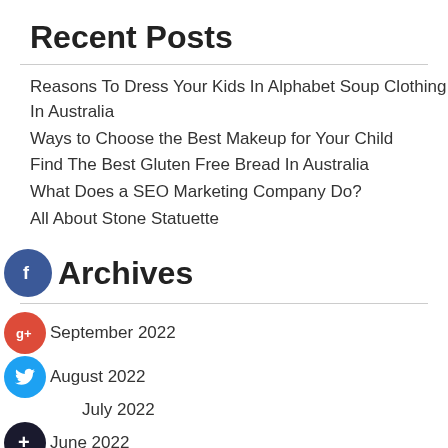Recent Posts
Reasons To Dress Your Kids In Alphabet Soup Clothing In Australia
Ways to Choose the Best Makeup for Your Child
Find The Best Gluten Free Bread In Australia
What Does a SEO Marketing Company Do?
All About Stone Statuette
Archives
September 2022
August 2022
July 2022
June 2022
May 2022
April 2022
March 2022